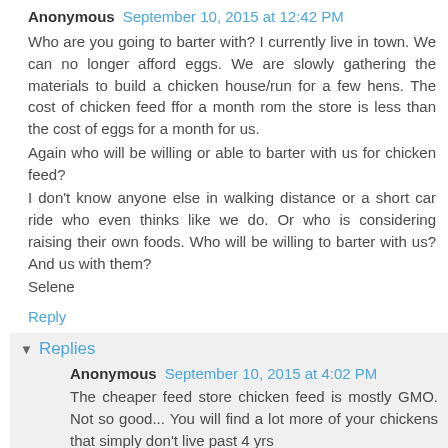Anonymous  September 10, 2015 at 12:42 PM
Who are you going to barter with? I currently live in town. We can no longer afford eggs. We are slowly gathering the materials to build a chicken house/run for a few hens. The cost of chicken feed ffor a month rom the store is less than the cost of eggs for a month for us.
Again who will be willing or able to barter with us for chicken feed?
I don't know anyone else in walking distance or a short car ride who even thinks like we do. Or who is considering raising their own foods. Who will be willing to barter with us? And us with them?
Selene
Reply
Replies
Anonymous  September 10, 2015 at 4:02 PM
The cheaper feed store chicken feed is mostly GMO. Not so good... You will find a lot more of your chickens that simply don't live past 4 yrs